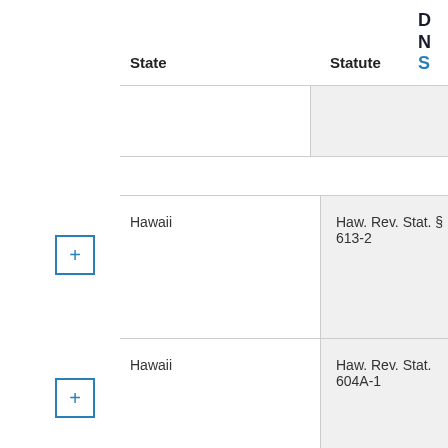| State | Statute |
| --- | --- |
| Hawaii | Haw. Rev. Stat. § 613-2 |
| Hawaii | Haw. Rev. Stat. 604A-1 |